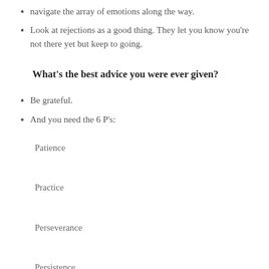navigate the array of emotions along the way.
Look at rejections as a good thing. They let you know you're not there yet but keep to going.
What's the best advice you were ever given?
Be grateful.
And you need the 6 P's:
Patience
Practice
Perseverance
Persistence